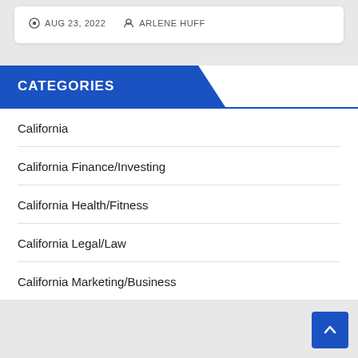AUG 23, 2022   ARLENE HUFF
CATEGORIES
California
California Finance/Investing
California Health/Fitness
California Legal/Law
California Marketing/Business